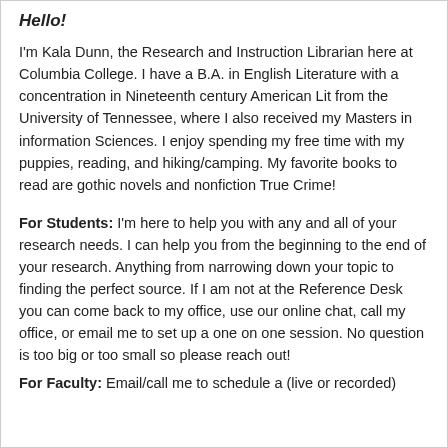Hello!
I'm Kala Dunn, the Research and Instruction Librarian here at Columbia College. I have a B.A. in English Literature with a concentration in Nineteenth century American Lit from the University of Tennessee, where I also received my Masters in information Sciences. I enjoy spending my free time with my puppies, reading, and hiking/camping. My favorite books to read are gothic novels and nonfiction True Crime!
For Students: I'm here to help you with any and all of your research needs. I can help you from the beginning to the end of your research. Anything from narrowing down your topic to finding the perfect source. If I am not at the Reference Desk you can come back to my office, use our online chat, call my office, or email me to set up a one on one session. No question is too big or too small so please reach out!
For Faculty: Email/call me to schedule a (live or recorded)